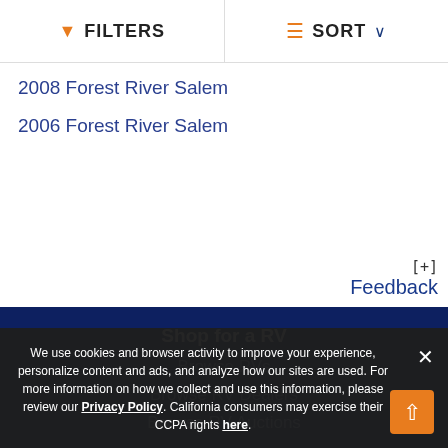FILTERS | SORT
2008 Forest River Salem
2006 Forest River Salem
[+] Feedback
Shop for a RV
Browse RVs
Browse RV Dealers
Browse RV Auctions
We use cookies and browser activity to improve your experience, personalize content and ads, and analyze how our sites are used. For more information on how we collect and use this information, please review our Privacy Policy. California consumers may exercise their CCPA rights here.